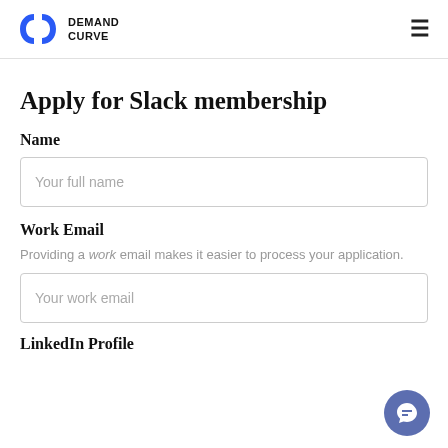DEMAND CURVE
Apply for Slack membership
Name
Your full name
Work Email
Providing a work email makes it easier to process your application.
Your work email
LinkedIn Profile